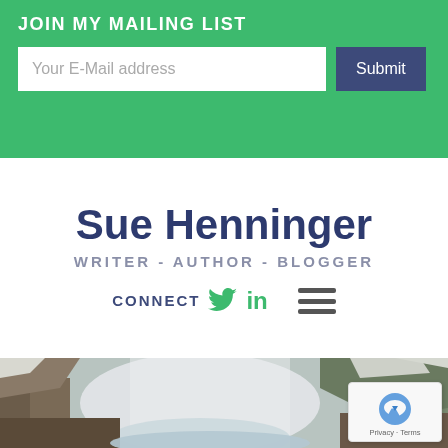JOIN MY MAILING LIST
Your E-Mail address
Submit
Sue Henninger
WRITER - AUTHOR - BLOGGER
CONNECT
[Figure (photo): Waterfall landscape with rocky gorge, mist, snow-capped cliffs and rushing water]
[Figure (logo): reCAPTCHA badge with Privacy and Terms links]